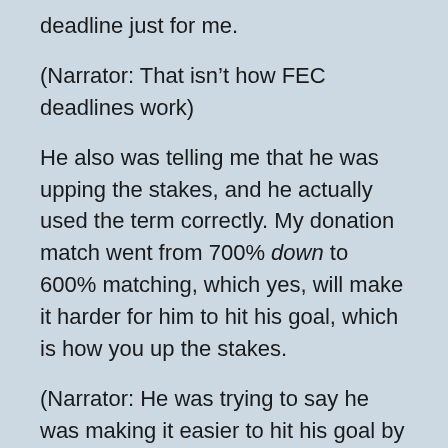deadline just for me.
(Narrator: That isn't how FEC deadlines work)
He also was telling me that he was upping the stakes, and he actually used the term correctly. My donation match went from 700% down to 600% matching, which yes, will make it harder for him to hit his goal, which is how you up the stakes.
(Narrator: He was trying to say he was making it easier to hit his goal by raising my match, but he hadn't bothered to keep track of that sort of thing)
Trump and Biden did both email me on August